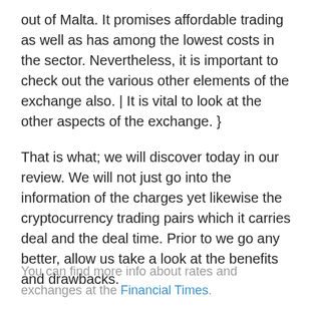out of Malta. It promises affordable trading as well as has among the lowest costs in the sector. Nevertheless, it is important to check out the various other elements of the exchange also. | It is vital to look at the other aspects of the exchange. }
That is what; we will discover today in our review. We will not just go into the information of the charges yet likewise the cryptocurrency trading pairs which it carries deal and the deal time. Prior to we go any better, allow us take a look at the benefits and drawbacks.
You can find more info about rates and exchanges at the Financial Times.